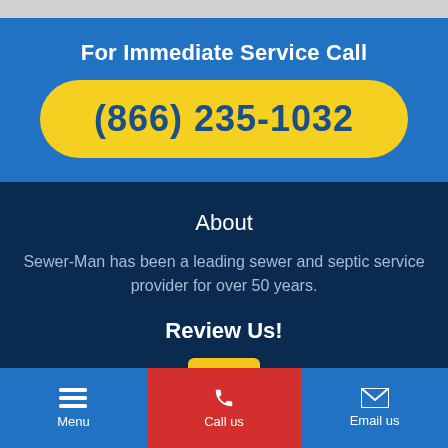For Immediate Service Call
(866) 235-1032
About
Sewer-Man has been a leading sewer and septic service provider for over 50 years.
Review Us!
[Figure (illustration): A small store/shop icon on a yellow background]
Menu
Call us
Email us